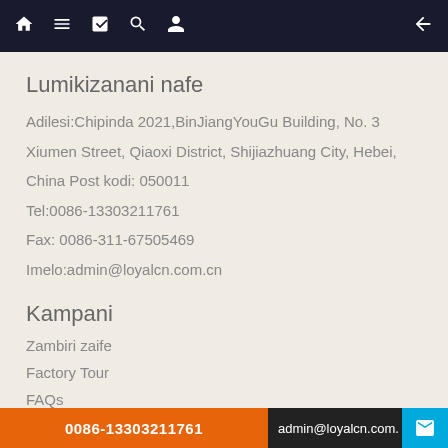Navigation bar with home, menu, book, search, user icons and back arrow
Lumikizanani nafe
Adilesi:Chipinda 2021,BinJiangYouGu Building, No. 3
Xiumen Street, Qiaoxi District, Shijiazhuang City, Hebei,
China Post kodi: 050011
Tel:0086-13303211761
Fax: 0086-311-67505469
Imelo:admin@loyalcn.com.cn
Kampani
Zambiri zaife
Factory Tour
FAQs
Lumikizanani nafe
0086-13303211761  admin@loyalcn.com.